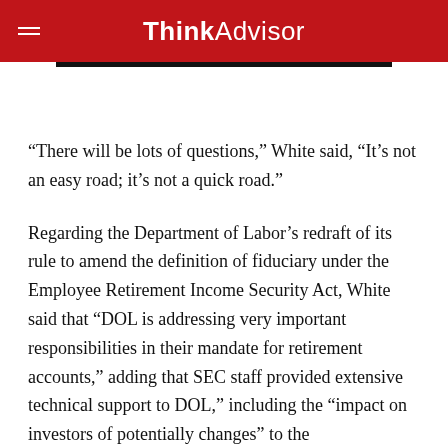ThinkAdvisor
“There will be lots of questions,” White said, “It’s not an easy road; it’s not a quick road.”
Regarding the Department of Labor’s redraft of its rule to amend the definition of fiduciary under the Employee Retirement Income Security Act, White said that “DOL is addressing very important responsibilities in their mandate for retirement accounts,” adding that SEC staff provided extensive technical support to DOL,” including the “impact on investors of potentially changes” to the